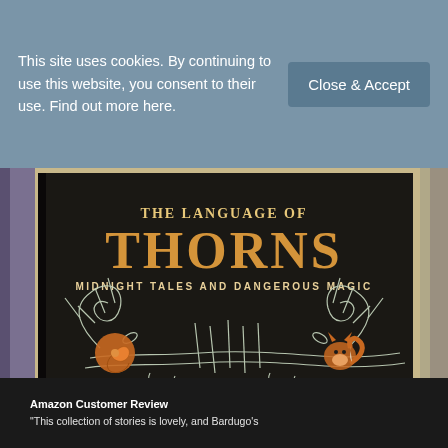This site uses cookies. By continuing to use this website, you consent to their use. Find out more here.
Close & Accept
[Figure (photo): Photo of the book 'The Language of Thorns: Midnight Tales and Dangerous Magic' by Leigh Bardugo, displayed on a wooden shelf. The book cover is dark with ornate white illustrated thorns and vines, orange decorative elements including a snail shell and a fox, and gold/orange lettering for the title and author name. Text on cover also reads '#1 New York Times-Bestselling Author'.]
Amazon Customer Review
"This collection of stories is lovely, and Bardugo's